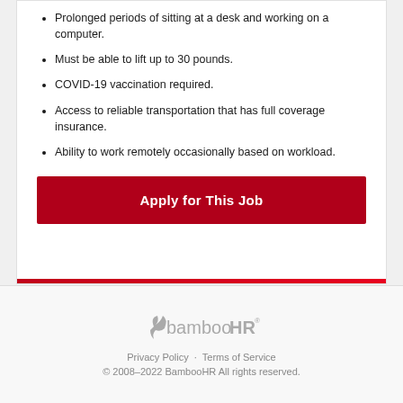Prolonged periods of sitting at a desk and working on a computer.
Must be able to lift up to 30 pounds.
COVID-19 vaccination required.
Access to reliable transportation that has full coverage insurance.
Ability to work remotely occasionally based on workload.
Apply for This Job
[Figure (logo): BambooHR logo with bamboo leaf graphic and registered trademark symbol]
Privacy Policy · Terms of Service
© 2008–2022 BambooHR All rights reserved.